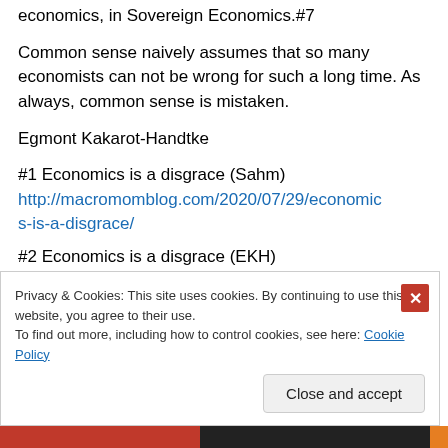economics, in Sovereign Economics.#7
Common sense naively assumes that so many economists can not be wrong for such a long time. As always, common sense is mistaken.
Egmont Kakarot-Handtke
#1 Economics is a disgrace (Sahm) http://macromomblog.com/2020/07/29/economics-is-a-disgrace/
#2 Economics is a disgrace (EKH)
Privacy & Cookies: This site uses cookies. By continuing to use this website, you agree to their use. To find out more, including how to control cookies, see here: Cookie Policy